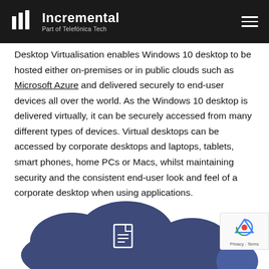Incremental | Part of Telefónica Tech
Desktop Virtualisation enables Windows 10 desktop to be hosted either on-premises or in public clouds such as Microsoft Azure and delivered securely to end-user devices all over the world. As the Windows 10 desktop is delivered virtually, it can be securely accessed from many different types of devices. Virtual desktops can be accessed by corporate desktops and laptops, tablets, smart phones, home PCs or Macs, whilst maintaining security and the consistent end-user look and feel of a corporate desktop when using applications.
[Figure (illustration): Cloud computing illustration showing a purple/blue cloud shape with document and device icons]